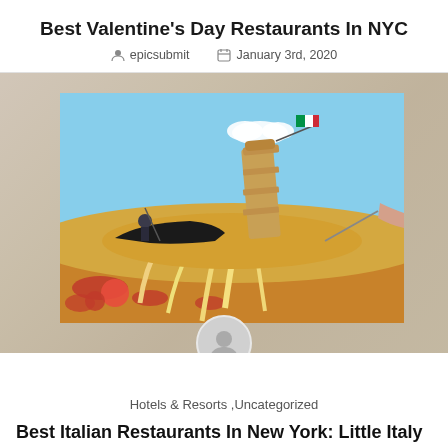Best Valentine’s Day Restaurants In NYC
epicsubmit   January 3rd, 2020
[Figure (photo): Creative food art photo showing a miniature gondola on a pizza landscape with the Leaning Tower of Pisa made from the pizza, under a blue sky, with an Italian flag and a hand pulling a fork in the foreground]
Hotels & Resorts ,Uncategorized
Best Italian Restaurants In New York: Little Italy